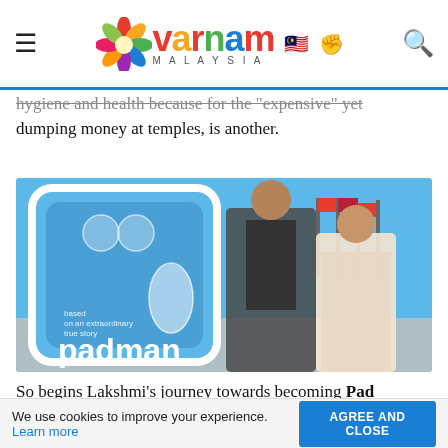Varnam Malaysia
hygiene and health because for the "expensive" yet dumping money at temples, is another.
[Figure (photo): Padman movie poster/promotional image showing a blue sanitary pad box with 'padman' text and 'based on an extraordinary true story', alongside a man in dark jacket and a woman in floral dress, outdoors with flags in background.]
So begins Lakshmi's journey towards becoming Pad
We use cookies to improve your experience. Learn more  AGREE AND CLOSE